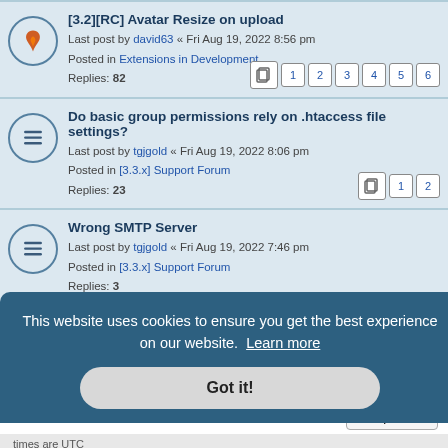[3.2][RC] Avatar Resize on upload — Last post by david63 « Fri Aug 19, 2022 8:56 pm — Posted in Extensions in Development — Replies: 82
Do basic group permissions rely on .htaccess file settings? — Last post by tgjgold « Fri Aug 19, 2022 8:06 pm — Posted in [3.3.x] Support Forum — Replies: 23
Wrong SMTP Server — Last post by tgjgold « Fri Aug 19, 2022 7:46 pm — Posted in [3.3.x] Support Forum — Replies: 3
Search found 73 matches  1 2 3 >
Jump to
ADVERTISEMENTS
This website uses cookies to ensure you get the best experience on our website.  Learn more
Got it!
Need Hosting?